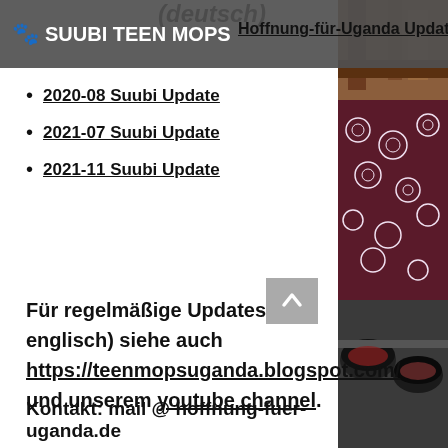(deutsch)
SUUBI TEEN MOPS (navigation bar with logo and hamburger menu)
Hoffnung-für-Uganda Update
2020-08 Suubi Update
2021-07 Suubi Update
2021-11 Suubi Update
Für regelmäßige Updates (in englisch) siehe auch https://teenmopsuganda.blogspot.com/ und unserem youtube channel.
Kontakt: mail @ hoffnung-fuer-uganda.de